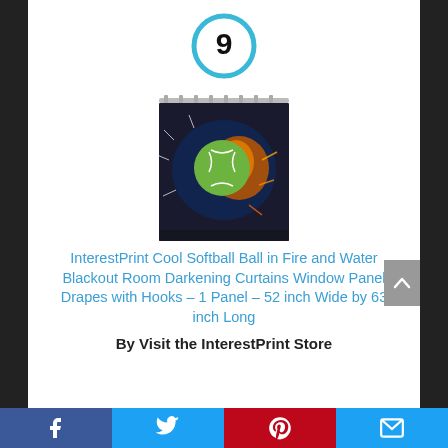[Figure (other): Circle badge with number 9 in cyan/blue outline]
[Figure (photo): Product photo of a shower curtain showing a softball ball in fire and water design, hung on a rod]
InterestPrint Cool Softball Ball in Fire and Water Blackout Room Darkening Curtains Window Panel Drapes with Hooks – 1 Panel – 52 inch Wide by 63 inch Long
By Visit the InterestPrint Store
[Figure (infographic): Bottom social sharing bar with Facebook, Twitter, Pinterest, and Email icons]